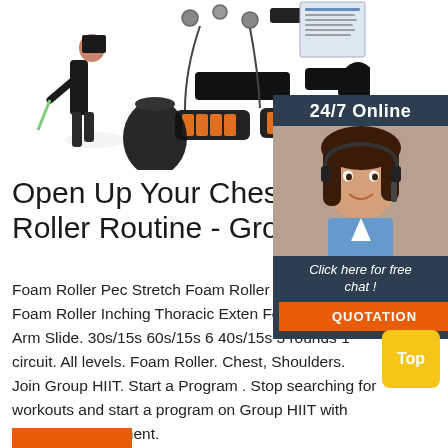[Figure (photo): Product photo collage showing resistance bands set with a woman exercising, various bands, handles, door anchor, carry bag, and instruction card on white background]
Open Up Your Chest - Fo Roller Routine - Group H
Foam Roller Pec Stretch Foam Roller Sno Angel Foam Roller Inching Thoracic Exten Foam Roller Arm Slide. 30s/15s 60s/15s 6 40s/15s 3 rounds 1 circuit. All levels. Foam Roller. Chest, Shoulders. Join Group HIIT. Start a Program . Stop searching for workouts and start a program on Group HIIT with little to no equipment.
[Figure (photo): 24/7 Online chat widget with female customer service agent photo, 'Click here for free chat!' link, and QUOTATION button]
[Figure (other): Yellow 'Top' button in bottom right corner]